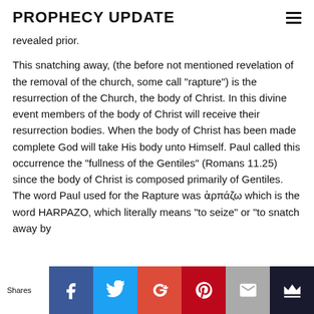PROPHECY UPDATE
revealed prior.
This snatching away, (the before not mentioned revelation of the removal of the church, some call "rapture") is the resurrection of the Church, the body of Christ. In this divine event members of the body of Christ will receive their resurrection bodies. When the body of Christ has been made complete God will take His body unto Himself. Paul called this occurrence the "fullness of the Gentiles" (Romans 11.25) since the body of Christ is composed primarily of Gentiles. The word Paul used for the Rapture was ἁρπάζω which is the word HARPAZO, which literally means "to seize" or "to snatch away by
Shares | Facebook | Twitter | Google+ | Pinterest | Email | Crown